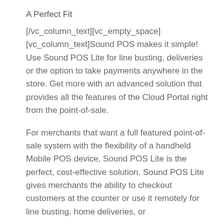A Perfect Fit
[/vc_column_text][vc_empty_space][vc_column_text]Sound POS makes it simple! Use Sound POS Lite for line busting, deliveries or the option to take payments anywhere in the store. Get more with an advanced solution that provides all the features of the Cloud Portal right from the point-of-sale.
For merchants that want a full featured point-of-sale system with the flexibility of a handheld Mobile POS device, Sound POS Lite is the perfect, cost-effective solution. Sound POS Lite gives merchants the ability to checkout customers at the counter or use it remotely for line busting, home deliveries, or